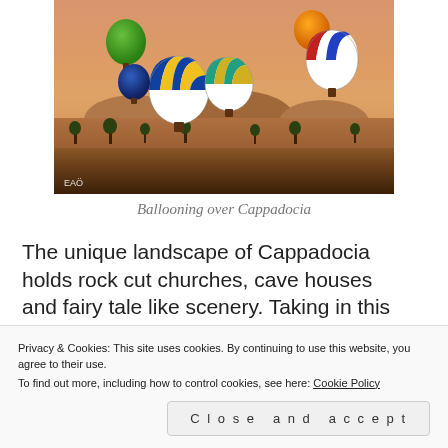[Figure (photo): Hot air balloons floating over the rocky landscape of Cappadocia at sunrise/dusk with warm orange hazy sky. Multiple colorful balloons visible — green, orange, red/white/blue striped, blue/yellow striped, teal/yellow. Rocky terrain and sparse trees below. Watermark 'EAÖ' in bottom left.]
Ballooning over Cappadocia
The unique landscape of Cappadocia holds rock cut churches, cave houses and fairy tale like scenery. Taking in this surreal landscape from a
Privacy & Cookies: This site uses cookies. By continuing to use this website, you agree to their use.
To find out more, including how to control cookies, see here: Cookie Policy
Close and accept